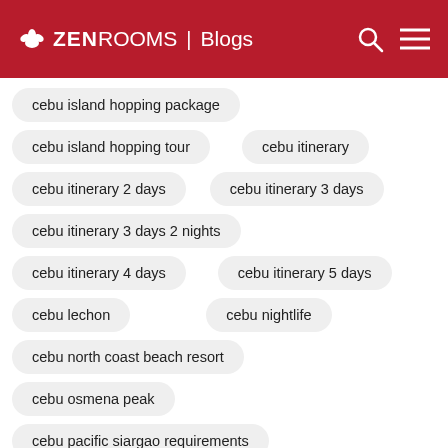ZEN ROOMS | Blogs
cebu island hopping package
cebu island hopping tour
cebu itinerary
cebu itinerary 2 days
cebu itinerary 3 days
cebu itinerary 3 days 2 nights
cebu itinerary 4 days
cebu itinerary 5 days
cebu lechon
cebu nightlife
cebu north coast beach resort
cebu osmena peak
cebu pacific siargao requirements